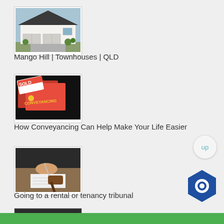[Figure (photo): Townhouses exterior photo — Mango Hill QLD]
Mango Hill | Townhouses | QLD
[Figure (photo): Conveyancing — red folders with SOLD sign and CONVEYANCING label]
How Conveyancing Can Help Make Your Life Easier
[Figure (photo): Person signing document with gavel — rental or tenancy tribunal]
Going to a rental or tenancy tribunal
[Figure (photo): Yield Calculator partial thumbnail]